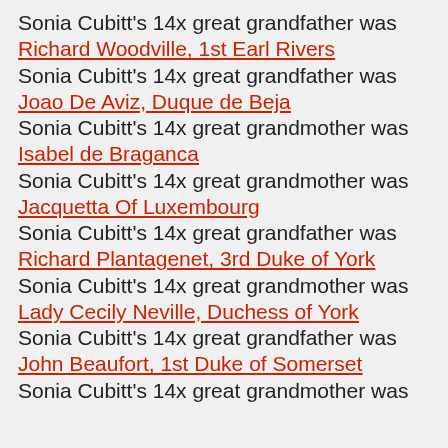Sonia Cubitt's 14x great grandfather was Richard Woodville, 1st Earl Rivers
Sonia Cubitt's 14x great grandfather was Joao De Aviz, Duque de Beja
Sonia Cubitt's 14x great grandmother was Isabel de Braganca
Sonia Cubitt's 14x great grandmother was Jacquetta Of Luxembourg
Sonia Cubitt's 14x great grandfather was Richard Plantagenet, 3rd Duke of York
Sonia Cubitt's 14x great grandmother was Lady Cecily Neville, Duchess of York
Sonia Cubitt's 14x great grandfather was John Beaufort, 1st Duke of Somerset
Sonia Cubitt's 14x great grandmother was